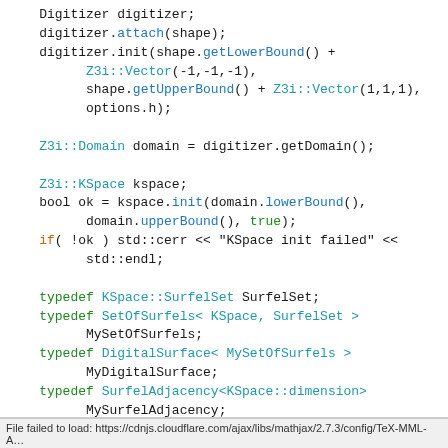[Figure (screenshot): Code snippet in C++ showing DGtal library usage: Digitizer setup, KSpace initialization, typedef declarations for SurfelSet, SetOfSurfels, DigitalSurface, SurfelAdjacency, and Surfaces boundary construction.]
File failed to load: https://cdnjs.cloudflare.com/ajax/libs/mathjax/2.7.3/config/TeX-MML-A...